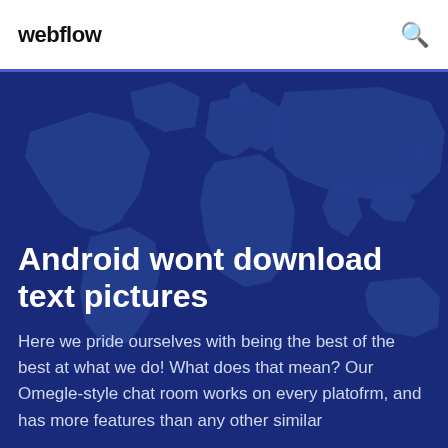webflow
[Figure (illustration): World map silhouette on deep blue background serving as hero banner background]
Android wont download text pictures
Here we pride ourselves with being the best of the best at what we do! What does that mean? Our Omegle-style chat room works on every platofrm, and has more features than any other similar